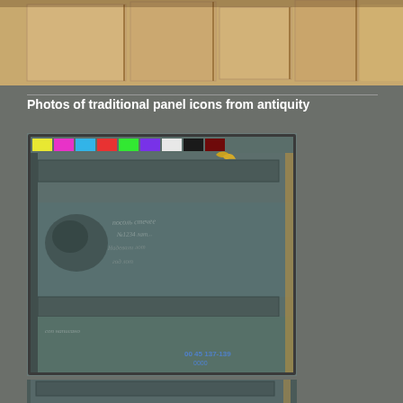[Figure (photo): Photograph of wooden panel pieces or blocks, light tan/cream colored, arranged on a surface, partially cropped at top of page.]
Photos of traditional panel icons from antiquity
[Figure (photo): Photograph of the back of an antique wooden panel icon. The panel shows horizontal wooden struts/battens, aged dark greenish-blue paint/patina, handwritten inscriptions in cursive, a color reference strip (yellow, magenta, cyan, red, green, purple, white, black, dark red) at the top, and blue stamped numbers at the bottom right.]
[Figure (photo): Partial photograph at the bottom of the page showing another panel icon back, similar aged appearance, partially cropped.]